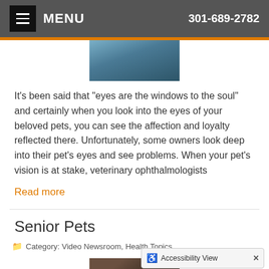MENU  301-689-2782
[Figure (photo): Partial photo of a pet or veterinary scene, cropped at top]
It's been said that "eyes are the windows to the soul" and certainly when you look into the eyes of your beloved pets, you can see the affection and loyalty reflected there. Unfortunately, some owners look deep into their pet's eyes and see problems. When your pet's vision is at stake, veterinary ophthalmologists
Read more
Senior Pets
Category: Video Newsroom, Health Topics
[Figure (photo): Partial photo at the bottom of the page, partially obscured by Accessibility View bar]
Accessibility View  ×